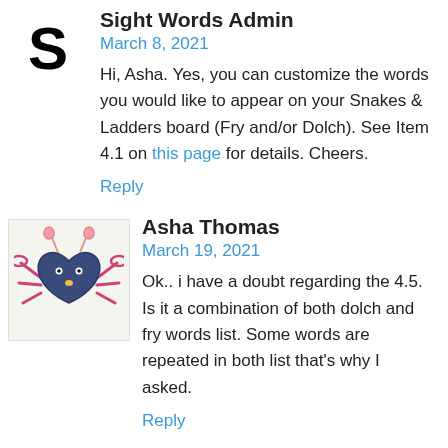Sight Words Admin
March 8, 2021
Hi, Asha. Yes, you can customize the words you would like to appear on your Snakes & Ladders board (Fry and/or Dolch). See Item 4.1 on this page for details. Cheers.
Reply
Asha Thomas
March 19, 2021
Ok.. i have a doubt regarding the 4.5. Is it a combination of both dolch and fry words list. Some words are repeated in both list that's why I asked.
Reply